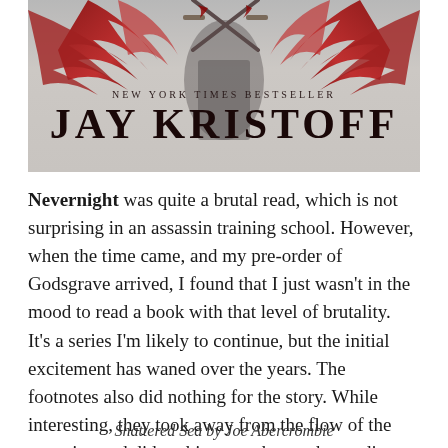[Figure (illustration): Book cover image for a Jay Kristoff novel featuring dark red/maroon winged figure and two swords, with text 'NEW YORK TIMES BESTSELLER' and 'JAY KRISTOFF' in large serif font on a grey background.]
Nevernight was quite a brutal read, which is not surprising in an assassin training school. However, when the time came, and my pre-order of Godsgrave arrived, I found that I just wasn't in the mood to read a book with that level of brutality. It's a series I'm likely to continue, but the initial excitement has waned over the years. The footnotes also did nothing for the story. While interesting, they took away from the flow of the narrative and did nothing to enhance the reading experience.
Shattered Sea by Joe Abercrombie